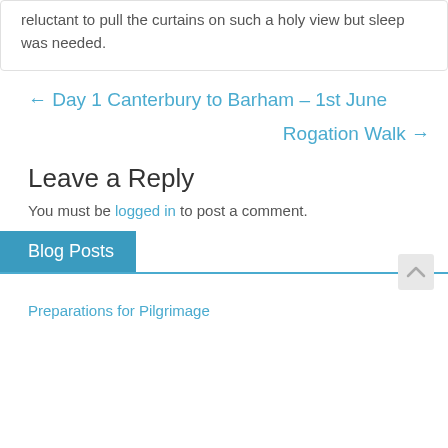reluctant to pull the curtains on such a holy view but sleep was needed.
← Day 1 Canterbury to Barham – 1st June
Rogation Walk →
Leave a Reply
You must be logged in to post a comment.
Blog Posts
Preparations for Pilgrimage